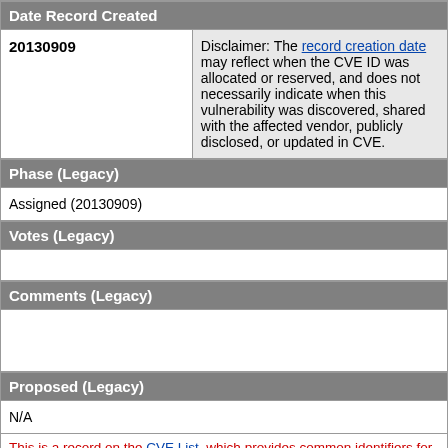Date Record Created
| Date | Disclaimer |
| --- | --- |
| 20130909 | Disclaimer: The record creation date may reflect when the CVE ID was allocated or reserved, and does not necessarily indicate when this vulnerability was discovered, shared with the affected vendor, publicly disclosed, or updated in CVE. |
Phase (Legacy)
Assigned (20130909)
Votes (Legacy)
Comments (Legacy)
Proposed (Legacy)
N/A
This is a record on the CVE List, which provides common identifiers for publicly known cybersecurity vulnerabilities.
SEARCH CVE USING KEYWORDS: